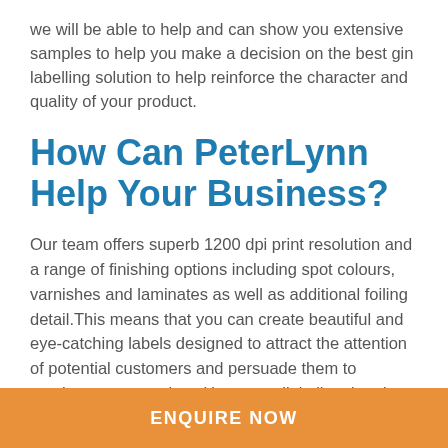we will be able to help and can show you extensive samples to help you make a decision on the best gin labelling solution to help reinforce the character and quality of your product.
How Can PeterLynn Help Your Business?
Our team offers superb 1200 dpi print resolution and a range of finishing options including spot colours, varnishes and laminates as well as additional foiling detail.This means that you can create beautiful and eye-catching labels designed to attract the attention of potential customers and persuade them to purchase your product. However, digitally printed labels are not the only options available to our clients; our team can also provide flexi (ink) printed
ENQUIRE NOW